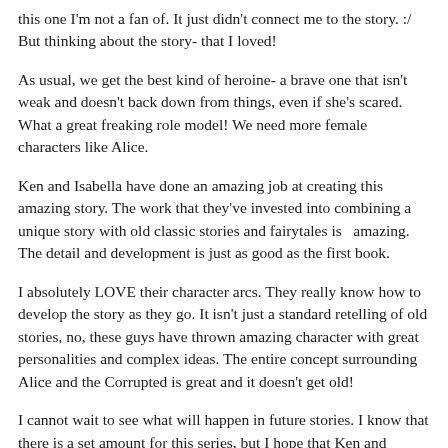this one I'm not a fan of. It just didn't connect me to the story. :/ But thinking about the story- that I loved!
As usual, we get the best kind of heroine- a brave one that isn't weak and doesn't back down from things, even if she's scared. What a great freaking role model! We need more female characters like Alice.
Ken and Isabella have done an amazing job at creating this amazing story. The work that they've invested into combining a unique story with old classic stories and fairytales is  amazing. The detail and development is just as good as the first book.
I absolutely LOVE their character arcs. They really know how to develop the story as they go. It isn't just a standard retelling of old stories, no, these guys have thrown amazing character with great personalities and complex ideas. The entire concept surrounding Alice and the Corrupted is great and it doesn't get old!
I cannot wait to see what will happen in future stories. I know that there is a set amount for this series, but I hope that Ken and Isabella